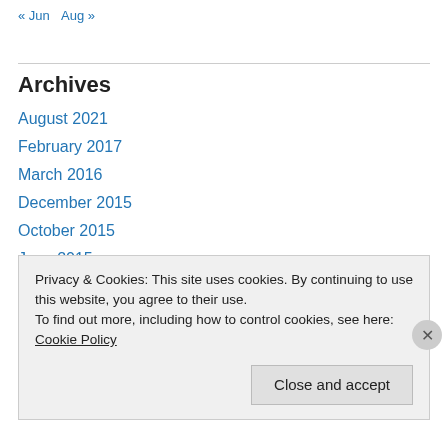« Jun  Aug »
Archives
August 2021
February 2017
March 2016
December 2015
October 2015
June 2015
May 2015
February 2015
Privacy & Cookies: This site uses cookies. By continuing to use this website, you agree to their use.
To find out more, including how to control cookies, see here: Cookie Policy
Close and accept